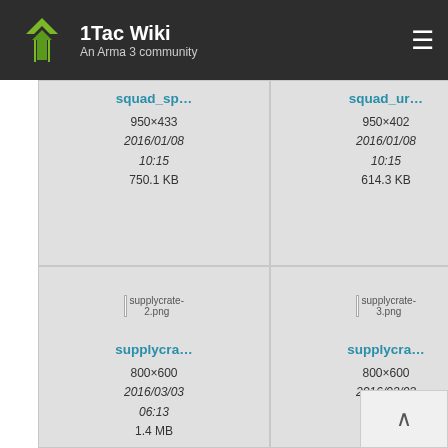1Tac Wiki – An Arma 3 community
[Figure (screenshot): File grid showing wiki image thumbnails: squad_sp..., squad_ur..., supply... (partial), supplycra..., supplycra..., t55_... (partial). Each card shows filename, dimensions, date, and file size.]